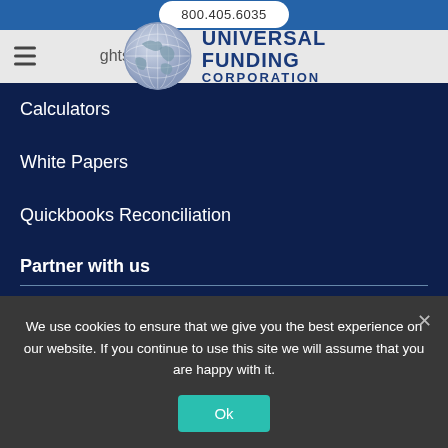800.405.6035
[Figure (logo): Universal Funding Corporation logo with globe graphic and company name]
Insights Blog
Calculators
White Papers
Quickbooks Reconciliation
Partner with us
We use cookies to ensure that we give you the best experience on our website. If you continue to use this site we will assume that you are happy with it.